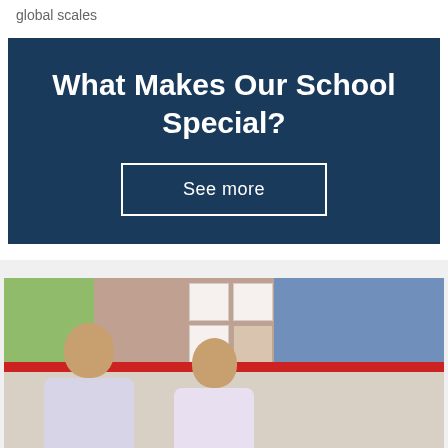global scales
What Makes Our School Special?
See more
[Figure (photo): Two school boys in school uniforms sitting at desks in a classroom, with colorful bulletin boards behind them covered in posters and papers.]